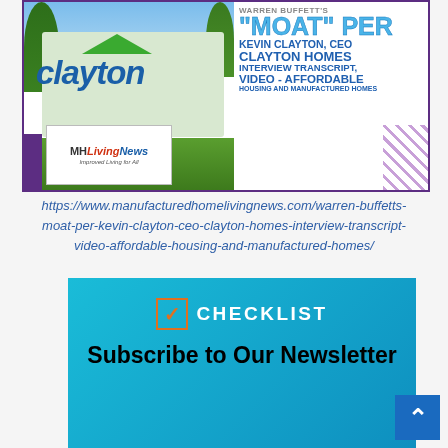[Figure (photo): Promotional banner image showing Clayton Homes sign on left and text overlay on right reading: Warren Buffett's MOAT PER KEVIN CLAYTON, CEO CLAYTON HOMES INTERVIEW TRANSCRIPT, VIDEO - AFFORDABLE HOUSING AND MANUFACTURED HOMES. MHLivingNews logo visible in lower left.]
https://www.manufacturedhomelivingnews.com/warren-buffetts-moat-per-kevin-clayton-ceo-clayton-homes-interview-transcript-video-affordable-housing-and-manufactured-homes/
[Figure (infographic): Teal/blue gradient box with checklist icon (orange checkmark in box), CHECKLIST label, and Subscribe to Our Newsletter text in bold black. Blue scroll-to-top arrow button on right side.]